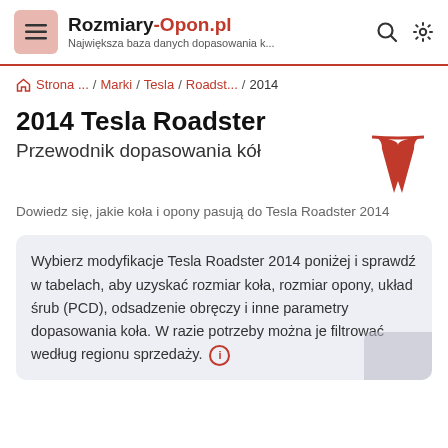Rozmiary-Opon.pl — Największa baza danych dopasowania k...
Strona ... / Marki / Tesla / Roadst... / 2014
2014 Tesla Roadster
Przewodnik dopasowania kół
Dowiedz się, jakie koła i opony pasują do Tesla Roadster 2014
Wybierz modyfikacje Tesla Roadster 2014 poniżej i sprawdź w tabelach, aby uzyskać rozmiar koła, rozmiar opony, układ śrub (PCD), odsadzenie obręczy i inne parametry dopasowania koła. W razie potrzeby można je filtrować według regionu sprzedaży.